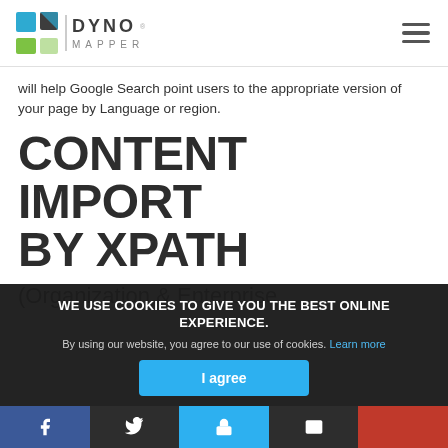[Figure (logo): Dyno Mapper logo with blue/green icon and gray text]
will help Google Search point users to the appropriate version of your page by Language or region.
CONTENT IMPORT BY XPATH
(Organization & Enterprise
WE USE COOKIES TO GIVE YOU THE BEST ONLINE EXPERIENCE.
By using our website, you agree to our use of cookies. Learn more
I agree